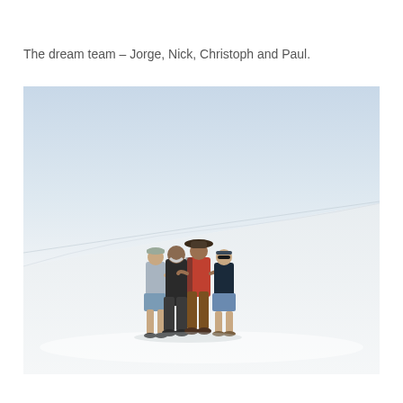The dream team – Jorge, Nick, Christoph and Paul.
[Figure (photo): Four men standing together with arms around each other in a minimal white curved studio space with light blue-grey sky background. The men are dressed casually; one in grey shirt and shorts, one in black clothing, one in a wide-brim hat and brown pants, one in a dark tank top and shorts.]